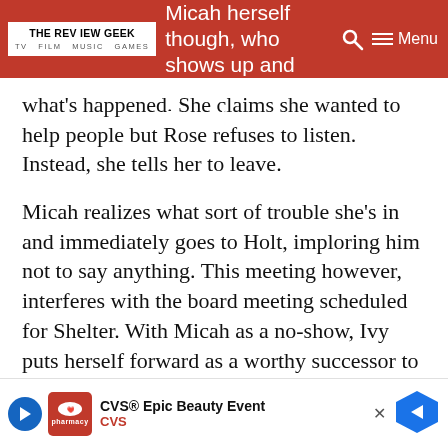THE REVIEW GEEK — TV FILM MUSIC GAMES | ...versation is broken up by Micah herself though, who shows up and apologizes to Rose for
what's happened. She claims she wanted to help people but Rose refuses to listen. Instead, she tells her to leave.
Micah realizes what sort of trouble she's in and immediately goes to Holt, imploring him not to say anything. This meeting however, interferes with the board meeting scheduled for Shelter. With Micah as a no-show, Ivy puts herself forward as a worthy successor to take over. The board decide they're happy to go ahead with this too.
In prison, Poppy heads in to question Holt. He admits Rose is innocent and confirms that he's the one who killed [obscured] ...s to dig de[obscured] ...o deal
[Figure (screenshot): CVS Epic Beauty Event advertisement banner at bottom of page]